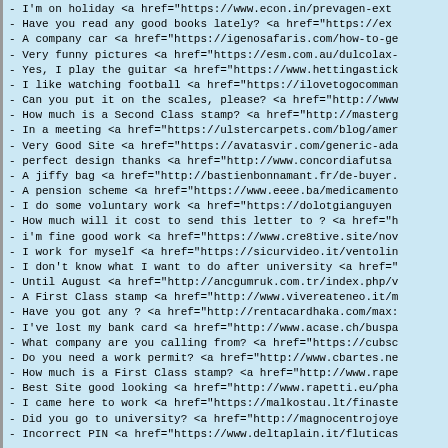- I'm on holiday <a href="https://www.econ.in/prevagen-ext
- Have you read any good books lately? <a href="https://ex
- A company car <a href="https://igenosafaris.com/how-to-ge
- Very funny pictures <a href="https://esm.com.au/dulcolax-
- Yes, I play the guitar <a href="https://www.hettingastick
- I like watching football <a href="https://ilovetogocomman
- Can you put it on the scales, please? <a href="http://www
- How much is a Second Class stamp? <a href="http://masterg
- In a meeting <a href="https://ulstercarpets.com/blog/amer
- Very Good Site <a href="https://avatasvir.com/generic-ada
- perfect design thanks <a href="http://www.concordiafutsa
- A jiffy bag <a href="http://bastienbonnamant.fr/de-buyer.
- A pension scheme <a href="https://www.eeee.ba/medicamento
- I do some voluntary work <a href="https://dolotgianguyen
- How much will it cost to send this letter to ? <a href="h
- i'm fine good work <a href="https://www.cre8tive.site/nov
- I work for myself <a href="https://sicurvideo.it/ventolin
- I don't know what I want to do after university <a href="
- Until August <a href="http://ancgumruk.com.tr/index.php/v
- A First Class stamp <a href="http://www.vivereateneo.it/m
- Have you got any ? <a href="http://rentacardhaka.com/max:
- I've lost my bank card <a href="http://www.acase.ch/buspa
- What company are you calling from? <a href="https://cubsc
- Do you need a work permit? <a href="http://www.cbartes.ne
- How much is a First Class stamp? <a href="http://www.rape
- Best Site good looking <a href="http://www.rapetti.eu/pha
- I came here to work <a href="https://malkostau.lt/finaste
- Did you go to university? <a href="http://magnocentrojoye
- Incorrect PIN <a href="https://www.deltaplain.it/fluticas